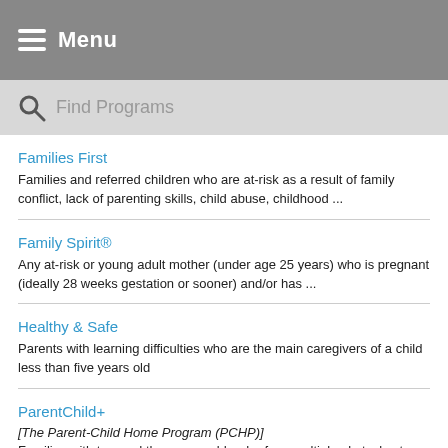Menu
Find Programs
Families First
Families and referred children who are at-risk as a result of family conflict, lack of parenting skills, child abuse, childhood ...
Family Spirit®
Any at-risk or young adult mother (under age 25 years) who is pregnant (ideally 28 weeks gestation or sooner) and/or has ...
Healthy & Safe
Parents with learning difficulties who are the main caregivers of a child less than five years old
ParentChild+
[The Parent-Child Home Program (PCHP)]
Families with two and three-year-olds who face multiple obstacles to educational and economic success. These barriers include